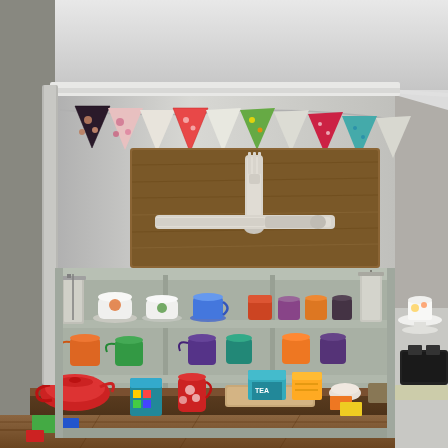[Figure (photo): Interior photo of a cozy kitchen or cafe corner. A light sage-green painted shelving unit holds colorful mugs and cups on the top shelf, and small colorful jugs/creamers on the middle shelf. The bottom area has a dark wood dresser/sideboard with a red teapot, a red and white floral jug, colorful tea boxes including a teal 'TEA' package, small colored notebooks/coasters, and a wooden cutting board. On the wall above the shelving is a rustic wooden board art piece displaying oversized white painted fork and knife. Colorful fabric bunting triangles in red, pink, floral, green, teal and other patterns are strung across the wall. A stainless steel French press is visible on the left side and right side of the shelving. A white cake stand and black toaster are partially visible on the right. The floor is wooden.]